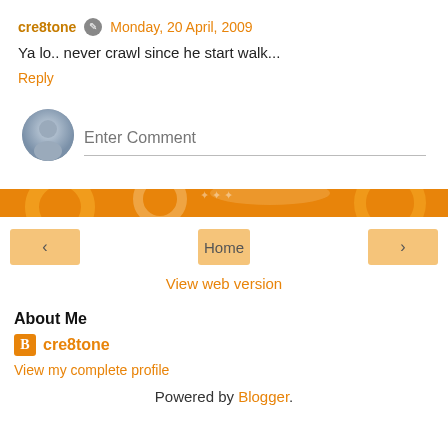cre8tone  Monday, 20 April, 2009
Ya lo.. never crawl since he start walk...
Reply
Enter Comment
Home
View web version
About Me
cre8tone
View my complete profile
Powered by Blogger.